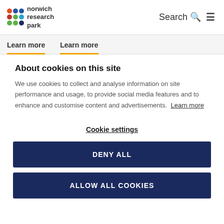Norwich Research Park — Search [icon] [menu]
Learn more   Learn more
About cookies on this site
We use cookies to collect and analyse information on site performance and usage, to provide social media features and to enhance and customise content and advertisements. Learn more
Cookie settings
DENY ALL
ALLOW ALL COOKIES